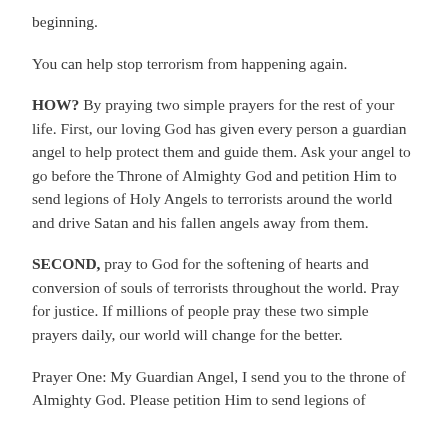beginning.
You can help stop terrorism from happening again.
HOW? By praying two simple prayers for the rest of your life. First, our loving God has given every person a guardian angel to help protect them and guide them. Ask your angel to go before the Throne of Almighty God and petition Him to send legions of Holy Angels to terrorists around the world and drive Satan and his fallen angels away from them.
SECOND, pray to God for the softening of hearts and conversion of souls of terrorists throughout the world. Pray for justice. If millions of people pray these two simple prayers daily, our world will change for the better.
Prayer One: My Guardian Angel, I send you to the throne of Almighty God. Please petition Him to send legions of